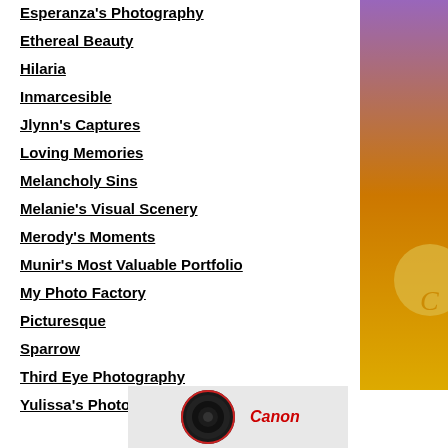Esperanza's Photography
Ethereal Beauty
Hilaria
Inmarcesible
Jlynn's Captures
Loving Memories
Melancholy Sins
Melanie's Visual Scenery
Merody's Moments
Munir's Most Valuable Portfolio
My Photo Factory
Picturesque
Sparrow
Third Eye Photography
Yulissa's Photography
[Figure (photo): Canon camera lens product photo with Canon logo in red on white background, alongside a decorative side image with purple and gold tones]